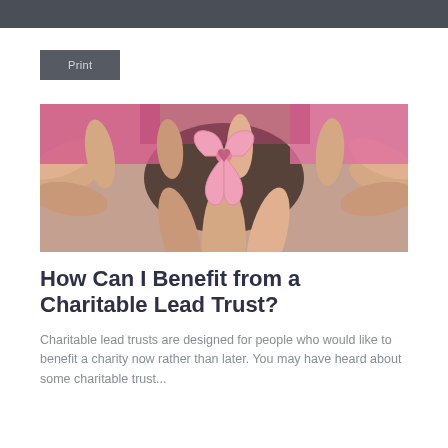Print
[Figure (photo): Multiple pairs of hands arranged in a circle holding a pink awareness ribbon, representing charity and community support. People are wearing pink clothing.]
How Can I Benefit from a Charitable Lead Trust?
Charitable lead trusts are designed for people who would like to benefit a charity now rather than later. You may have heard about some charitable trust...